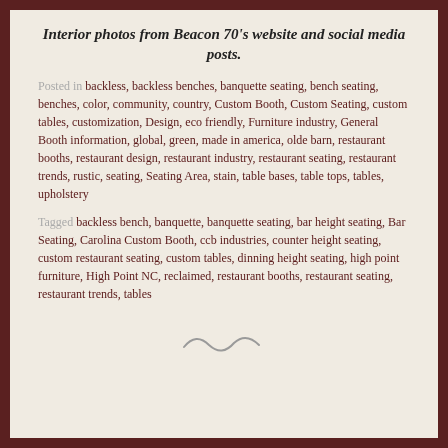Interior photos from Beacon 70's website and social media posts.
Posted in backless, backless benches, banquette seating, bench seating, benches, color, community, country, Custom Booth, Custom Seating, custom tables, customization, Design, eco friendly, Furniture industry, General Booth information, global, green, made in america, olde barn, restaurant booths, restaurant design, restaurant industry, restaurant seating, restaurant trends, rustic, seating, Seating Area, stain, table bases, table tops, tables, upholstery
Tagged backless bench, banquette, banquette seating, bar height seating, Bar Seating, Carolina Custom Booth, ccb industries, counter height seating, custom restaurant seating, custom tables, dinning height seating, high point furniture, High Point NC, reclaimed, restaurant booths, restaurant seating, restaurant trends, tables